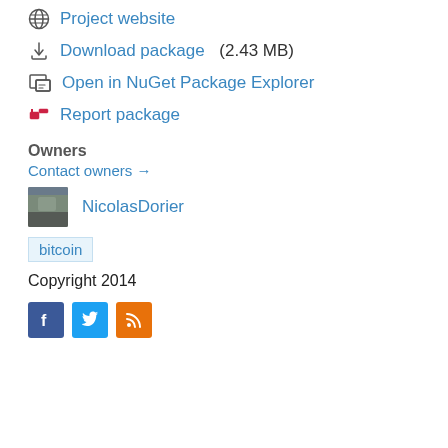Project website
Download package  (2.43 MB)
Open in NuGet Package Explorer
Report package
Owners
Contact owners →
NicolasDorier
bitcoin
Copyright 2014
[Figure (illustration): Social media icons: Facebook (blue), Twitter (light blue), RSS (orange)]